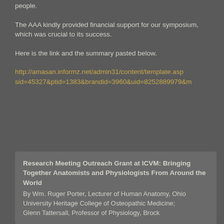people.
The AAA kindly provided financial support for our symposium, which was crucial to its success.
Here is the link and the summary pasted below.
http://amasan.informz.net/admin31/content/template.asp sid=45327&ptid=1383&brandid=3960&uid=8252889979&m
Research Meeting Outreach Grant at ICVM: Bringing Together Anatomists and Physiologists From Around the World
By Wm. Ruger Porter, Lecturer of Human Anatomy, Ohio University Heritage College of Osteopathic Medicine;
Glenn Tattersall, Professor of Physiology, Brock